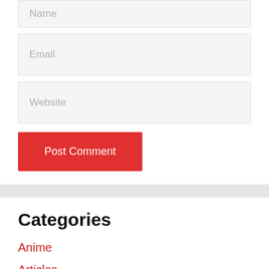Name
Email
Website
Post Comment
Categories
Anime
Articles
Best Mobile Titles